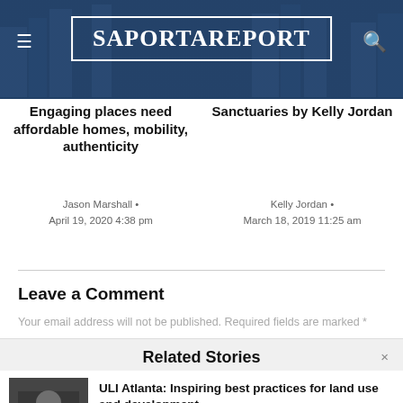SaportaReport
Engaging places need affordable homes, mobility, authenticity
Jason Marshall • April 19, 2020 4:38 pm
Sanctuaries by Kelly Jordan
Kelly Jordan • March 18, 2019 11:25 am
Leave a Comment
Your email address will not be published. Required fields are marked *
Related Stories
[Figure (photo): Thumbnail photo of a person at a table]
ULI Atlanta: Inspiring best practices for land use and development